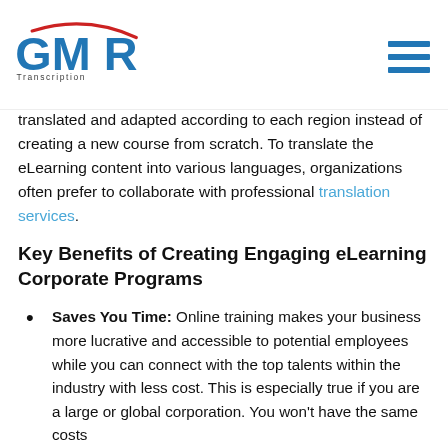GMR Transcription
translated and adapted according to each region instead of creating a new course from scratch. To translate the eLearning content into various languages, organizations often prefer to collaborate with professional translation services.
Key Benefits of Creating Engaging eLearning Corporate Programs
Saves You Time: Online training makes your business more lucrative and accessible to potential employees while you can connect with the top talents within the industry with less cost. This is especially true if you are a large or global corporation. You won't have the same costs